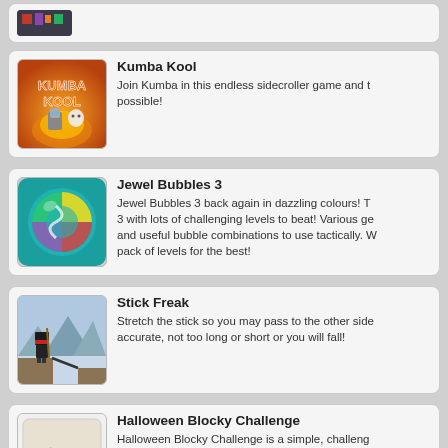[Figure (screenshot): Partial top card showing a game thumbnail (dark/pixel art style)]
Kumba Kool
Join Kumba in this endless sidecroller game and try to get as far as possible!
Jewel Bubbles 3
Jewel Bubbles 3 back again in dazzling colours! There are 3 with lots of challenging levels to beat! Various gems and useful bubble combinations to use tactically. Win each pack of levels for the best!
Stick Freak
Stretch the stick so you may pass to the other side. Be accurate, not too long or short or you will fall!
Halloween Blocky Challenge
Halloween Blocky Challenge is a simple, challenging game based on the game-play of block collapse. Halloween face masks.mrnYou must click on a gr...